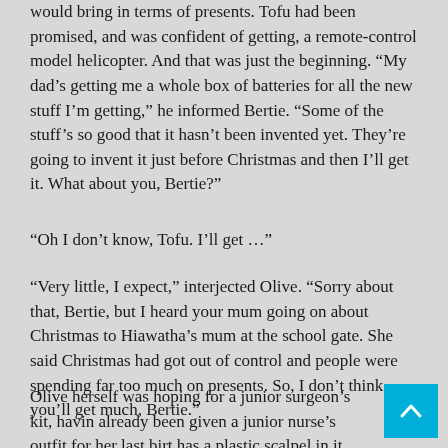would bring in terms of presents. Tofu had been promised, and was confident of getting, a remote-control model helicopter. And that was just the beginning. “My dad’s getting me a whole box of batteries for all the new stuff I’m getting,” he informed Bertie. “Some of the stuff’s so good that it hasn’t been invented yet. They’re going to invent it just before Christmas and then I’ll get it. What about you, Bertie?”
“Oh I don’t know, Tofu. I’ll get …”
“Very little, I expect,” interjected Olive. “Sorry about that, Bertie, but I heard your mum going on about Christmas to Hiawatha’s mum at the school gate. She said Christmas had got out of control and people were spending far too much on presents. So, I don’t think you’ll get much, Bertie.”
Olive herself was hoping for a junior surgeon’s kit, having already been given a junior nurse’s outfit for her last birth has a plastic scalpel in it, Bertie,” she crowed. “But I’m g